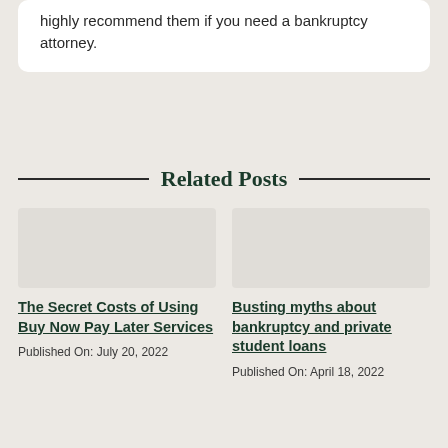highly recommend them if you need a bankruptcy attorney.
Related Posts
The Secret Costs of Using Buy Now Pay Later Services
Published On: July 20, 2022
Busting myths about bankruptcy and private student loans
Published On: April 18, 2022